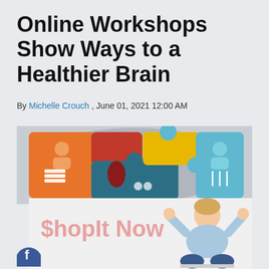Online Workshops Show Ways to a Healthier Brain
By Michelle Crouch , June 01, 2021 12:00 AM
[Figure (illustration): Colorful brain puzzle illustration made of interlocking puzzle pieces in orange, red, teal/dark blue, yellow, and light blue, each with icons (books, person, fork/knife, headphones), set inside a gray brain silhouette outline. Below it is an advertisement banner for 'ShopIt Now' with pink text on white/light background and a woman with raised fists sitting cross-legged in front of a laptop.]